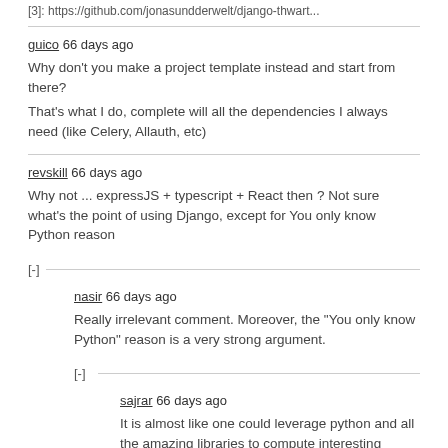[3]: https://github.com/jonasundderwelt/django-thwart...
guico 66 days ago
Why don't you make a project template instead and start from there?
That's what I do, complete will all the dependencies I always need (like Celery, Allauth, etc)
revskill 66 days ago
Why not ... expressJS + typescript + React then ? Not sure what's the point of using Django, except for You only know Python reason
[-]
nasir 66 days ago
Really irrelevant comment. Moreover, the "You only know Python" reason is a very strong argument.
[-]
sajrar 66 days ago
It is almost like one could leverage python and all the amazing libraries to compute interesting things.
It is almost like we can actually build web apps that do